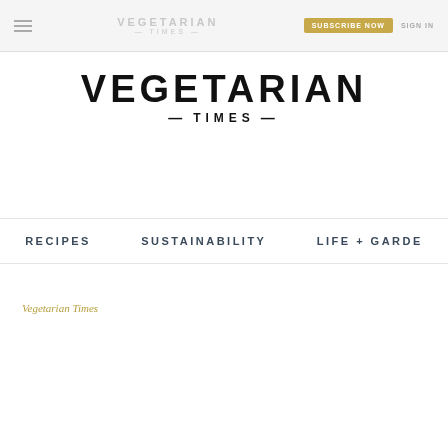VEGETARIAN TIMES | SUBSCRIBE NOW | SIGN IN
VEGETARIAN — TIMES —
RECIPES | SUSTAINABILITY | LIFE + GARDE
Vegetarian Times